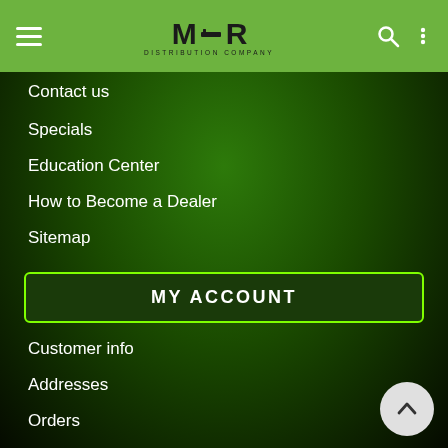MGR Distribution Company — navigation header with hamburger menu, logo, search and more icons
Contact us
Specials
Education Center
How to Become a Dealer
Sitemap
MY ACCOUNT
Customer info
Addresses
Orders
Wishlist
OUR OFFERS
New products
Compare products list